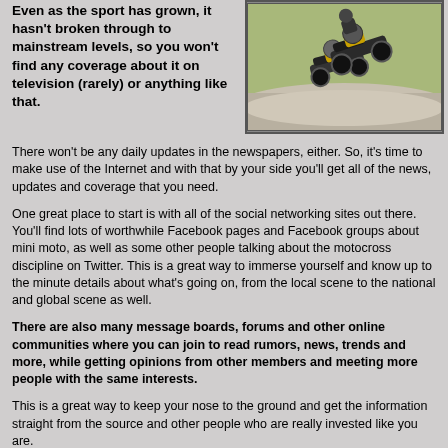Even as the sport has grown, it hasn't broken through to mainstream levels, so you won't find any coverage about it on television (rarely) or anything like that.
[Figure (photo): Two motorcycle racers leaning into a curve on a racetrack, wearing racing gear on sport bikes]
There won't be any daily updates in the newspapers, either. So, it's time to make use of the Internet and with that by your side you'll get all of the news, updates and coverage that you need.
One great place to start is with all of the social networking sites out there. You'll find lots of worthwhile Facebook pages and Facebook groups about mini moto, as well as some other people talking about the motocross discipline on Twitter. This is a great way to immerse yourself and know up to the minute details about what's going on, from the local scene to the national and global scene as well.
There are also many message boards, forums and other online communities where you can join to read rumors, news, trends and more, while getting opinions from other members and meeting more people with the same interests.
This is a great way to keep your nose to the ground and get the information straight from the source and other people who are really invested like you are.
Facebook & the mini dirt bike